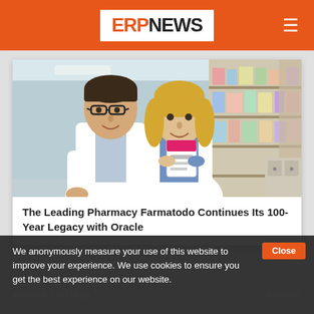ERPNEWS
[Figure (photo): Two pharmacists in white coats examining a medication box in a pharmacy, shelves with products visible in the background]
The Leading Pharmacy Farmatodo Continues Its 100-Year Legacy with Oracle
We anonymously measure your use of this website to improve your experience. We use cookies to ensure you get the best experience on our website.